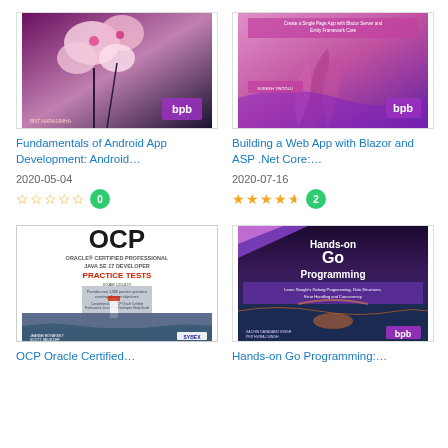[Figure (illustration): Book cover: Fundamentals of Android App Development with cherry blossom flowers, BPB publisher logo]
Fundamentals of Android App Development: Android…
2020-05-04
0 stars, 0 reviews
[Figure (illustration): Book cover: Building a Web App with Blazor and ASP .Net Core, pink/purple gradient with plant, BPB publisher logo]
Building a Web App with Blazor and ASP .Net Core:…
2020-07-16
4.5 stars, 2 reviews
[Figure (illustration): Book cover: OCP Oracle Certified Professional Java SE 17 Developer Practice Tests, white cover with lighthouse photo, SYBEX publisher]
OCP Oracle Certified…
[Figure (illustration): Book cover: Hands-on Go Programming, dark cover with river/sunset photo, BPB publisher logo]
Hands-on Go Programming:…